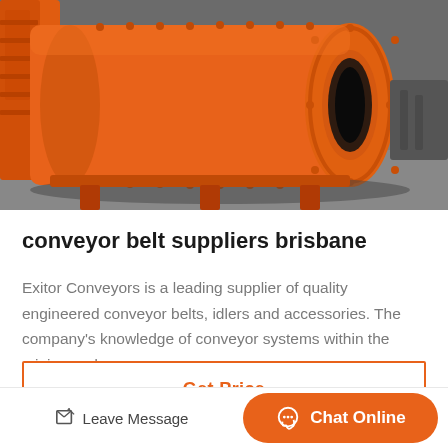[Figure (photo): Large orange industrial ball mill or drum machinery sitting on a concrete floor in a factory/warehouse setting. The drum is bright orange with visible bolts and flanges, and a circular opening on the right end.]
conveyor belt suppliers brisbane
Exitor Conveyors is a leading supplier of quality engineered conveyor belts, idlers and accessories. The company's knowledge of conveyor systems within the mining and…
Get Price
Leave Message
Chat Online